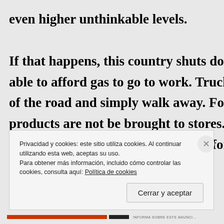even higher unthinkable levels. If that happens, this country shuts down. Most Americans are not able to afford gas to go to work. Truckers pull their big rigs of the road and simply walk away. Food, medicine and products are not be brought to stores. Gas and electric (the short supply) are too expensive for most people to a
Privacidad y cookies: este sitio utiliza cookies. Al continuar utilizando esta web, aceptas su uso.
Para obtener más información, incluido cómo controlar las cookies, consulta aquí: Política de cookies
Cerrar y aceptar